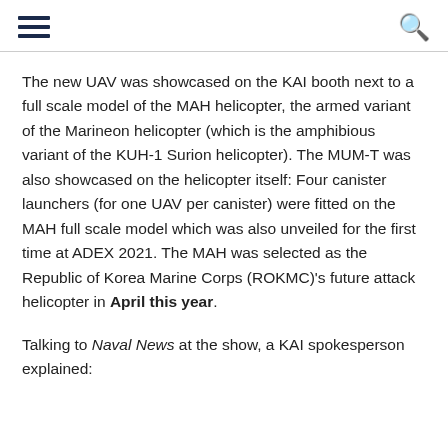[hamburger menu] [search icon]
The new UAV was showcased on the KAI booth next to a full scale model of the MAH helicopter, the armed variant of the Marineon helicopter (which is the amphibious variant of the KUH-1 Surion helicopter). The MUM-T was also showcased on the helicopter itself: Four canister launchers (for one UAV per canister) were fitted on the MAH full scale model which was also unveiled for the first time at ADEX 2021. The MAH was selected as the Republic of Korea Marine Corps (ROKMC)'s future attack helicopter in April this year.
Talking to Naval News at the show, a KAI spokesperson explained: